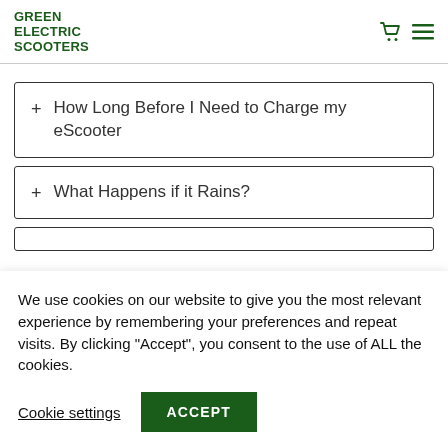GREEN ELECTRIC SCOOTERS
+ How Long Before I Need to Charge my eScooter
+ What Happens if it Rains?
We use cookies on our website to give you the most relevant experience by remembering your preferences and repeat visits. By clicking “Accept”, you consent to the use of ALL the cookies.
Cookie settings | ACCEPT